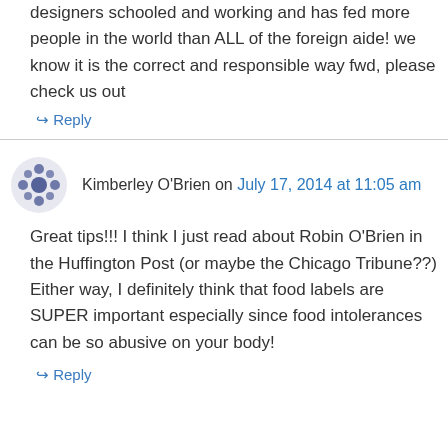designers schooled and working and has fed more people in the world than ALL of the foreign aide! we know it is the correct and responsible way fwd, please check us out
↪ Reply
Kimberley O'Brien on July 17, 2014 at 11:05 am
Great tips!!! I think I just read about Robin O'Brien in the Huffington Post (or maybe the Chicago Tribune??) Either way, I definitely think that food labels are SUPER important especially since food intolerances can be so abusive on your body!
↪ Reply